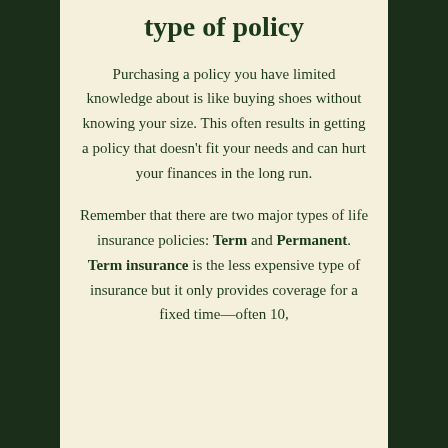type of policy
Purchasing a policy you have limited knowledge about is like buying shoes without knowing your size. This often results in getting a policy that doesn't fit your needs and can hurt your finances in the long run.
Remember that there are two major types of life insurance policies: Term and Permanent. Term insurance is the less expensive type of insurance but it only provides coverage for a fixed time—often 10,